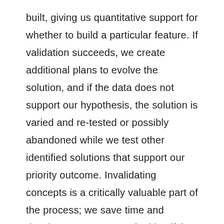built, giving us quantitative support for whether to build a particular feature. If validation succeeds, we create additional plans to evolve the solution, and if the data does not support our hypothesis, the solution is varied and re-tested or possibly abandoned while we test other identified solutions that support our priority outcome. Invalidating concepts is a critically valuable part of the process; we save time and development resources by identifying dead ends early.
Prioritize solutions